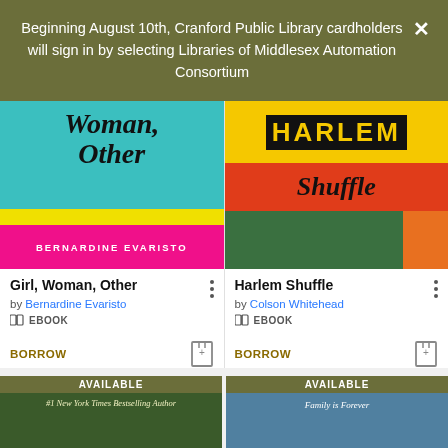Beginning August 10th, Cranford Public Library cardholders will sign in by selecting Libraries of Middlesex Automation Consortium
[Figure (illustration): Book cover for Girl, Woman, Other by Bernardine Evaristo — teal top half with italic serif title text, yellow band, hot pink band with author name]
Girl, Woman, Other
by Bernardine Evaristo
EBOOK
BORROW
[Figure (illustration): Book cover for Harlem Shuffle by Colson Whitehead — pop art style with yellow, red, green, orange panels, HARLEM in yellow text, Shuffle in italic script]
Harlem Shuffle
by Colson Whitehead
EBOOK
BORROW
[Figure (illustration): Bottom left book cover partially visible with AVAILABLE label, dark green background, text: #1 New York Times Bestselling Author]
[Figure (illustration): Bottom right book cover partially visible with AVAILABLE label, blue background, cursive text: Family is Forever]